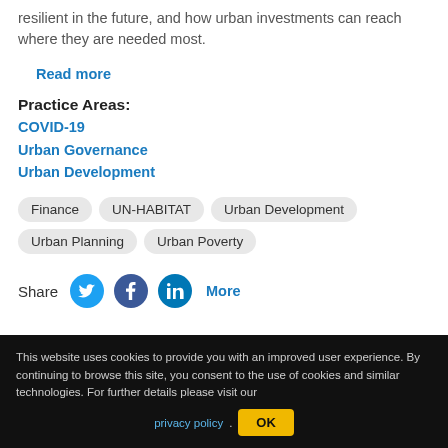resilient in the future, and how urban investments can reach where they are needed most.
Read more
Practice Areas:
COVID-19
Urban Governance
Urban Development
Finance
UN-HABITAT
Urban Development
Urban Planning
Urban Poverty
Share  More
This website uses cookies to provide you with an improved user experience. By continuing to browse this site, you consent to the use of cookies and similar technologies. For further details please visit our privacy policy.